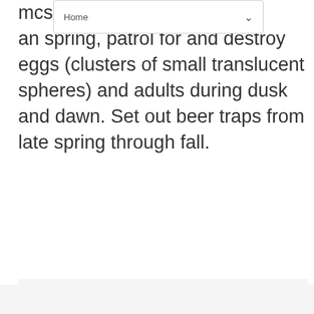Home
mo... s and... g p... spring, patrol for and destroy eggs (clusters of small translucent spheres) and adults during dusk and dawn. Set out beer traps from late spring through fall.
[Figure (screenshot): Sidebar with heart/like button (teal circle with heart icon), count showing '1', and share button (white circle with share icon). Bottom right shows a 'WHAT'S NEXT' card with a circular flower thumbnail, and text 'Aquilegia (Dragonfly...']
[Figure (photo): Partially visible image area at the very bottom of the page, light gray background.]